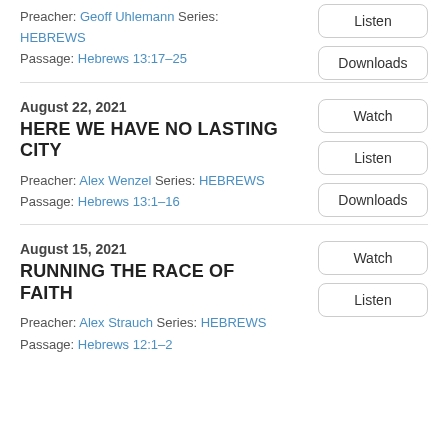Preacher: Geoff Uhlemann Series: HEBREWS
Passage: Hebrews 13:17–25
August 22, 2021
HERE WE HAVE NO LASTING CITY
Preacher: Alex Wenzel Series: HEBREWS
Passage: Hebrews 13:1–16
August 15, 2021
RUNNING THE RACE OF FAITH
Preacher: Alex Strauch Series: HEBREWS
Passage: Hebrews 12:1–2